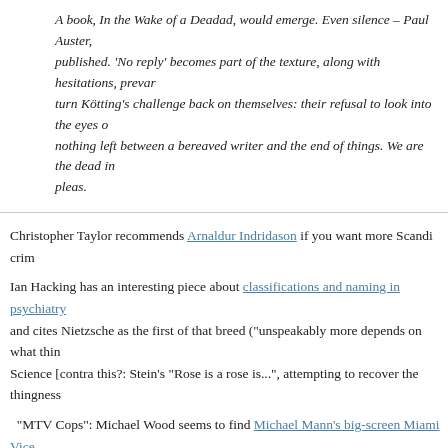A book, In the Wake of a Deadad, would emerge. Even silence – Paul Auster, published. 'No reply' becomes part of the texture, along with hesitations, prevar turn Kötting's challenge back on themselves: their refusal to look into the eyes o nothing left between a bereaved writer and the end of things. We are the dead in pleas.
Christopher Taylor recommends Arnaldur Indridason if you want more Scandi crim
Ian Hacking has an interesting piece about classifications and naming in psychiatry and cites Nietzsche as the first of that breed ("unspeakably more depends on what thin Science [contra this?: Stein's "Rose is a rose is...", attempting to recover the thingness
"MTV Cops": Michael Wood seems to find Michael Mann's big-screen Miami Vice
Miami Vice, the title, sounds more like the name of a rock group or a basketb has its interesting undertow, and there is a wonderful moment in the pilot where now insubordinate but ultimately loyal cop, has to pull his gun, show his badge after a very short pause: 'Vice.' It's as if a pun had been taken apart into its dis pun works, since we have already learned that Crockett's job is an addiction an